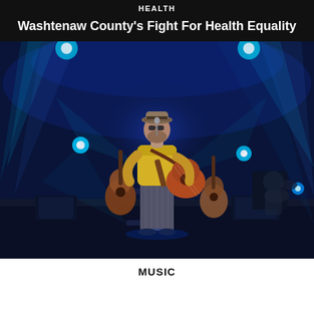HEALTH
Washtenaw County's Fight For Health Equality
[Figure (photo): A musician wearing a yellow shirt, fedora hat, and striped pants plays an acoustic guitar on a stage bathed in blue stage lights. Other instruments are visible in the background.]
MUSIC